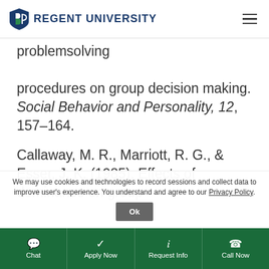Regent University
problemsolving procedures on group decision making. Social Behavior and Personality, 12, 157–164.
Callaway, M. R., Marriott, R. G., & Esser, J. K. (1985). Effects of dominance on group
We may use cookies and technologies to record sessions and collect data to improve user's experience. You understand and agree to our Privacy Policy.
Chat | Apply Now | Request Info | Call Now